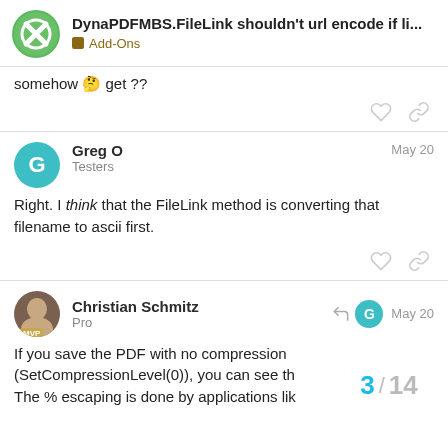DynaPDFMBS.FileLink shouldn't url encode if li... | Add-Ons
somehow 🤔 get ??
Greg O — Testers — May 20
Right. I think that the FileLink method is converting that filename to ascii first.
Christian Schmitz — Pro — May 20
If you save the PDF with no compression (SetCompressionLevel(0)), you can see th The % escaping is done by applications lik
3 / 14